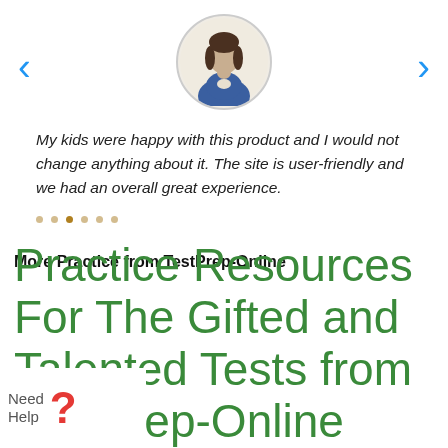[Figure (illustration): Circular avatar icon of a woman with dark hair wearing a blue jacket, on a light beige background]
My kids were happy with this product and I would not change anything about it. The site is user-friendly and we had an overall great experience.
More Practice from TestPrep-Online
Practice Resources For The Gifted and Talented Tests from TestPrep-Online